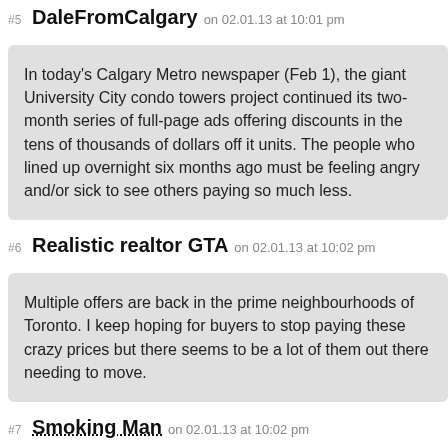#5 DaleFromCalgary on 02.01.13 at 10:01 pm
In today's Calgary Metro newspaper (Feb 1), the giant University City condo towers project continued its two-month series of full-page ads offering discounts in the tens of thousands of dollars off it units. The people who lined up overnight six months ago must be feeling angry and/or sick to see others paying so much less.
#6 Realistic realtor GTA on 02.01.13 at 10:02 pm
Multiple offers are back in the prime neighbourhoods of Toronto. I keep hoping for buyers to stop paying these crazy prices but there seems to be a lot of them out there needing to move.
#7 Smoking Man on 02.01.13 at 10:02 pm
DELETED